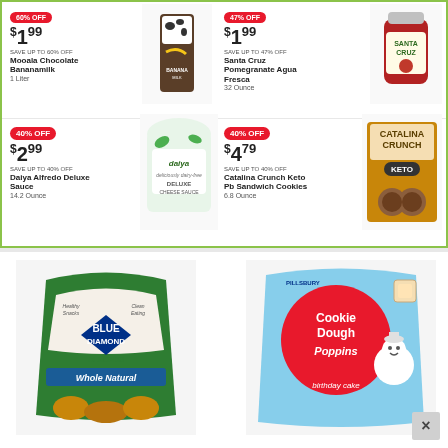[Figure (photo): Mooala Chocolate Bananamilk 1 Liter carton product image]
60% OFF
$1.99
SAVE UP TO 60% OFF
Mooala Chocolate Bananamilk
1 Liter
[Figure (photo): Santa Cruz Pomegranate Agua Fresca 32 Ounce jar product image]
$1.99
SAVE UP TO 47% OFF
Santa Cruz Pomegranate Agua Fresca
32 Ounce
40% OFF
$2.99
SAVE UP TO 40% OFF
Daiya Alfredo Deluxe Sauce
14.2 Ounce
[Figure (photo): Daiya Alfredo Deluxe Cheese Sauce product image]
40% OFF
$4.79
SAVE UP TO 40% OFF
Catalina Crunch Keto Pb Sandwich Cookies
6.8 Ounce
[Figure (photo): Catalina Crunch Keto sandwich cookies box product image]
[Figure (photo): Blue Diamond Almonds Whole Natural bag product image]
[Figure (photo): Pillsbury Cookie Dough Poppins birthday cake product image]